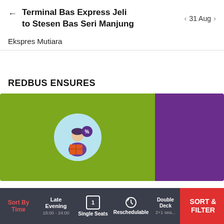Terminal Bas Express Jeli to Stesen Bas Seri Manjung | 31 Aug
Ekspres Mutiara
REDBUS ENSURES
[Figure (illustration): Green card with circular illustration of a person holding a package/box with a percentage discount symbol, on a light blue circular background. Adjacent purple card visible on the right.]
Sort By Time | Late Evening 18:00 - 24:00 | Single Seats | Reschedulable | Double Deck 2+1 sea... | SORT & FILTER